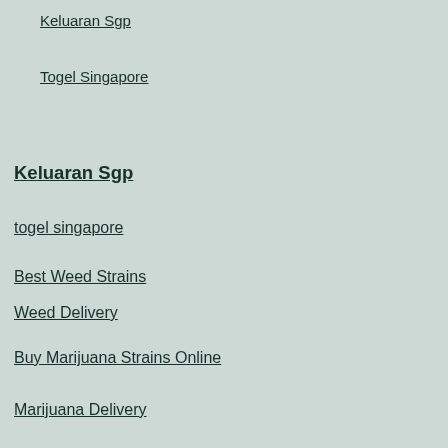Keluaran Sgp
Togel Singapore
Keluaran Sgp
togel singapore
Best Weed Strains
Weed Delivery
Buy Marijuana Strains Online
Marijuana Delivery